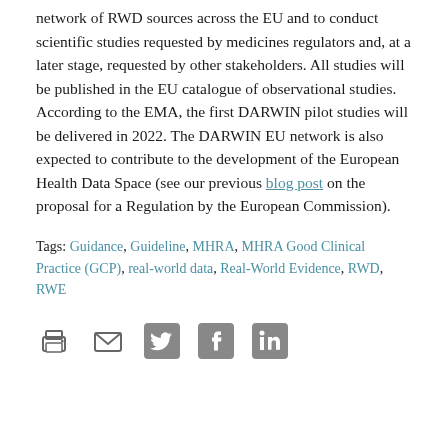network of RWD sources across the EU and to conduct scientific studies requested by medicines regulators and, at a later stage, requested by other stakeholders. All studies will be published in the EU catalogue of observational studies. According to the EMA, the first DARWIN pilot studies will be delivered in 2022. The DARWIN EU network is also expected to contribute to the development of the European Health Data Space (see our previous blog post on the proposal for a Regulation by the European Commission).
Tags: Guidance, Guideline, MHRA, MHRA Good Clinical Practice (GCP), real-world data, Real-World Evidence, RWD, RWE
[Figure (infographic): Social sharing icons: print, email, Twitter, Facebook, LinkedIn]